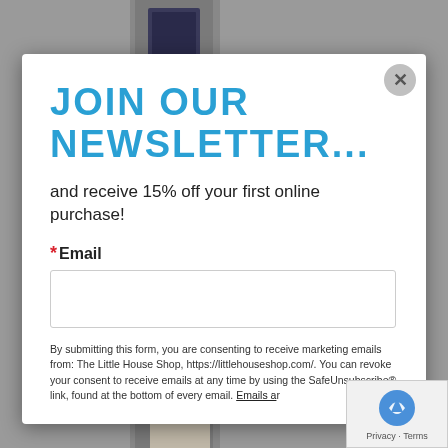[Figure (screenshot): Background photo of a door/hallway, partially visible behind a modal popup overlay]
JOIN OUR NEWSLETTER...
and receive 15% off your first online purchase!
* Email
By submitting this form, you are consenting to receive marketing emails from: The Little House Shop, https://littlehouseshop.com/. You can revoke your consent to receive emails at any time by using the SafeUnsubscribe® link, found at the bottom of every email. Emails ar...